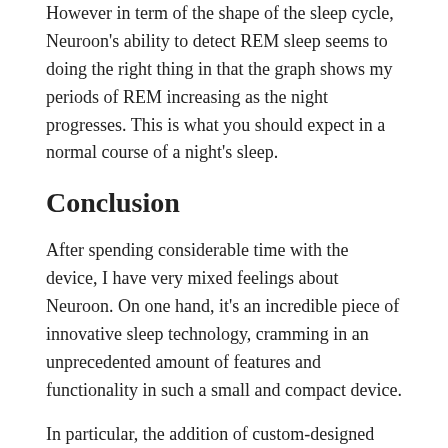However in term of the shape of the sleep cycle, Neuroon's ability to detect REM sleep seems to doing the right thing in that the graph shows my periods of REM increasing as the night progresses. This is what you should expect in a normal course of a night's sleep.
Conclusion
After spending considerable time with the device, I have very mixed feelings about Neuroon. On one hand, it's an incredible piece of innovative sleep technology, cramming in an unprecedented amount of features and functionality in such a small and compact device.
In particular, the addition of custom-designed EEG sensors that can read electrical activity from your brain whilst you sleep makes the product unique in the market – and fills a gap left by the 2013 demise of the Zeo Sleepmate, the first personal sleep tracker able to measure your brainwaves.